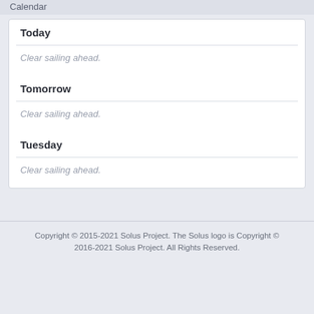Calendar
Today
Clear sailing ahead.
Tomorrow
Clear sailing ahead.
Tuesday
Clear sailing ahead.
Copyright © 2015-2021 Solus Project. The Solus logo is Copyright © 2016-2021 Solus Project. All Rights Reserved.